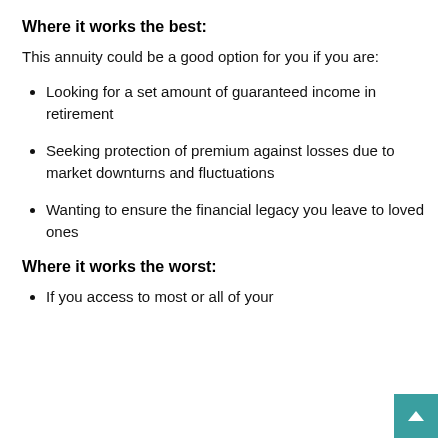Where it works the best:
This annuity could be a good option for you if you are:
Looking for a set amount of guaranteed income in retirement
Seeking protection of premium against losses due to market downturns and fluctuations
Wanting to ensure the financial legacy you leave to loved ones
Where it works the worst:
If you access to most or all of your